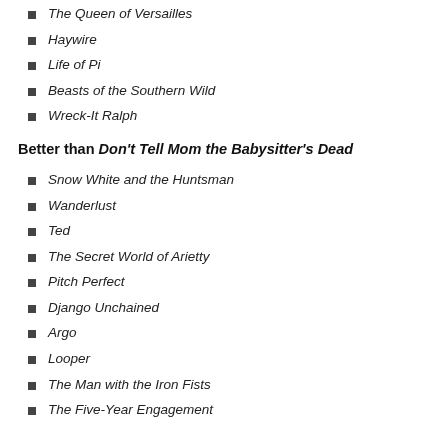The Queen of Versailles
Haywire
Life of Pi
Beasts of the Southern Wild
Wreck-It Ralph
Better than Don't Tell Mom the Babysitter's Dead
Snow White and the Huntsman
Wanderlust
Ted
The Secret World of Arietty
Pitch Perfect
Django Unchained
Argo
Looper
The Man with the Iron Fists
The Five-Year Engagement